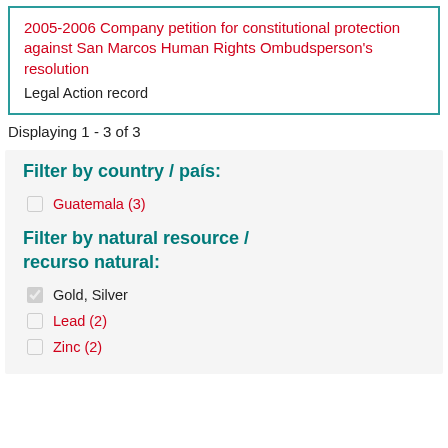2005-2006 Company petition for constitutional protection against San Marcos Human Rights Ombudsperson's resolution
Legal Action record
Displaying 1 - 3 of 3
Filter by country / país:
Guatemala (3)
Filter by natural resource / recurso natural:
Gold, Silver
Lead (2)
Zinc (2)